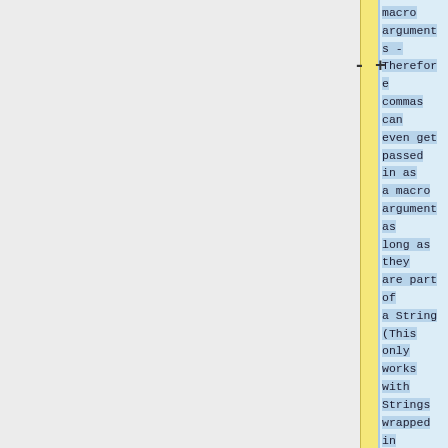macro arguments - Therefore commas can even get passed in as a macro argument as long as they are part of a String (This only works with Strings wrapped in double-quotes though). Note however that although the